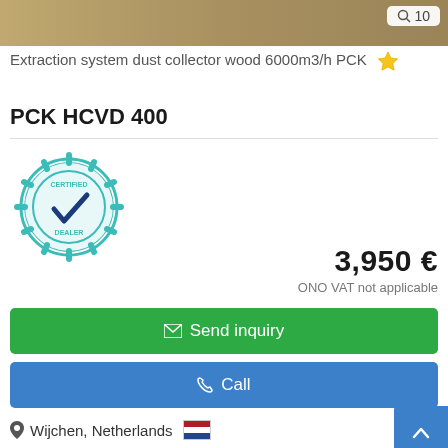[Figure (photo): Product image of extraction system dust collector, partially visible at top of page]
Extraction system dust collector wood 6000m3/h PCK
PCK HCVD 400
[Figure (logo): Certified Dealer badge/stamp in teal color with checkmark]
3,950 €
ONO VAT not applicable
Send inquiry
Call
Wijchen, Netherlands
(dealership location)
6292 km
Save search query
1996